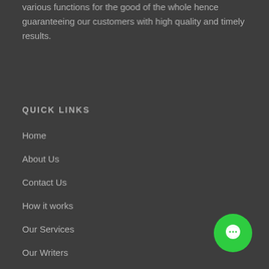various functions for the good of the whole hence guaranteeing our customers with high quality and timely results.
QUICK LINKS
Home
About Us
Contact Us
How it works
Our Services
Our Writers
[Figure (illustration): Green circular chat bubble button in the bottom-right corner]